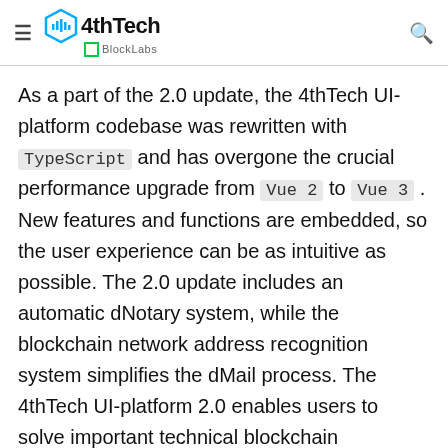4thTech BlockLabs — navigation header
As a part of the 2.0 update, the 4thTech UI-platform codebase was rewritten with TypeScript and has overgone the crucial performance upgrade from Vue 2 to Vue 3 . New features and functions are embedded, so the user experience can be as intuitive as possible. The 2.0 update includes an automatic dNotary system, while the blockchain network address recognition system simplifies the dMail process. The 4thTech UI-platform 2.0 enables users to solve important technical blockchain challenges within a niche sector of data exchange while supporting Ethereum, HashNet and Substrate public and private chains.